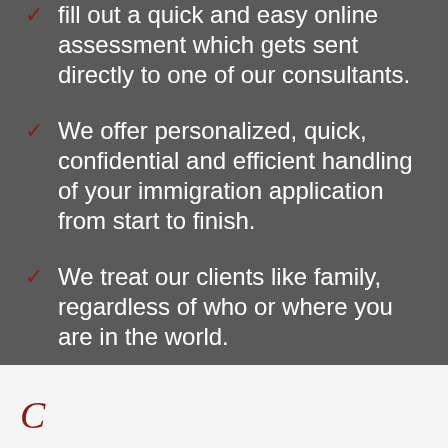fill out a quick and easy online assessment which gets sent directly to one of our consultants.
We offer personalized, quick, confidential and efficient handling of your immigration application from start to finish.
We treat our clients like family, regardless of who or where you are in the world.
C